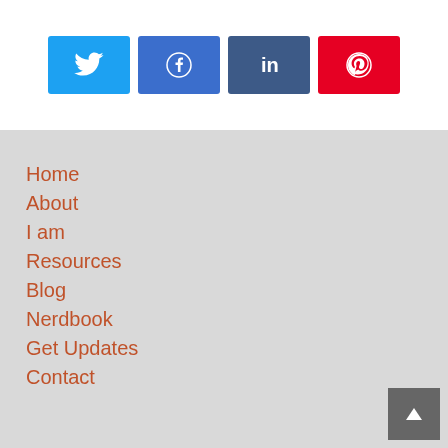[Figure (infographic): Row of four social media share buttons: Twitter (light blue), Facebook (blue), LinkedIn (dark blue), Pinterest (red), each with white icon]
Home
About
I am
Resources
Blog
Nerdbook
Get Updates
Contact